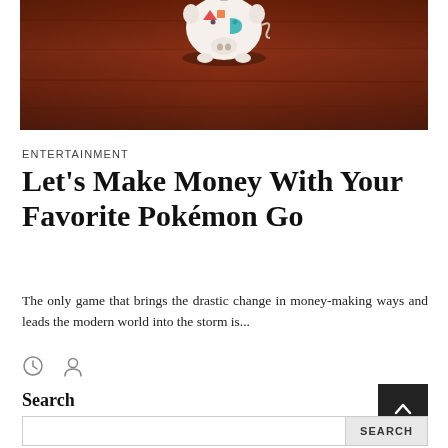[Figure (photo): Piggy bank figurine (white ceramic with colorful patterns) sitting on a dark reddish-brown wooden surface]
ENTERTAINMENT
Let's Make Money With Your Favorite Pokémon Go
The only game that brings the drastic change in money-making ways and leads the modern world into the storm is...
[Figure (other): Clock icon and person/author icon]
Search